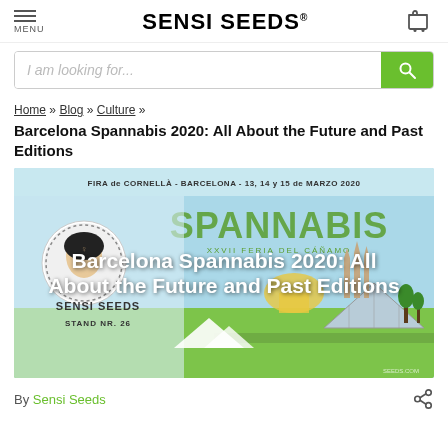SENSI SEEDS®
I am looking for...
Home » Blog » Culture » Barcelona Spannabis 2020: All About the Future and Past Editions
[Figure (illustration): Spannabis 2020 event promotional banner. Text reads: FIRA de CORNELLÀ - BARCELONA - 13, 14 y 15 de MARZO 2020, SPANNABIS, XXVII Feria del Cáñamo. Shows Sensi Seeds Stand NR. 26 logo on left, illustrated Barcelona cityscape on right. Overlay text: Barcelona Spannabis 2020: All About the Future and Past Editions]
By Sensi Seeds